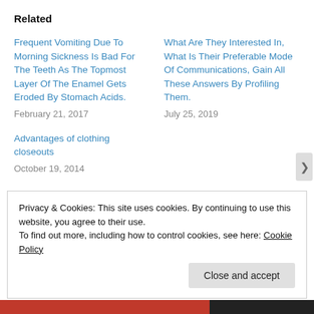Related
Frequent Vomiting Due To Morning Sickness Is Bad For The Teeth As The Topmost Layer Of The Enamel Gets Eroded By Stomach Acids.
February 21, 2017
What Are They Interested In, What Is Their Preferable Mode Of Communications, Gain All These Answers By Profiling Them.
July 25, 2019
Advantages of clothing closeouts
October 19, 2014
Privacy & Cookies: This site uses cookies. By continuing to use this website, you agree to their use.
To find out more, including how to control cookies, see here: Cookie Policy
Close and accept